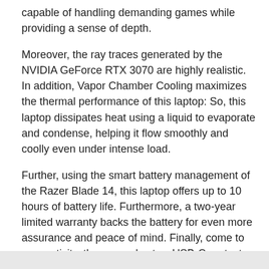capable of handling demanding games while providing a sense of depth.
Moreover, the ray traces generated by the NVIDIA GeForce RTX 3070 are highly realistic. In addition, Vapor Chamber Cooling maximizes the thermal performance of this laptop: So, this laptop dissipates heat using a liquid to evaporate and condense, helping it flow smoothly and coolly even under intense load.
Further, using the smart battery management of the Razer Blade 14, this laptop offers up to 10 hours of battery life. Furthermore, a two-year limited warranty backs the battery for even more assurance and peace of mind. Finally, come to connectivity, there are also two USB-C ports, two USB-A ports, an HDMI port, a Wi-Fi 6E network, a camera for Windows Hello with a resolution of 1080p, and TPM 2.0 security.